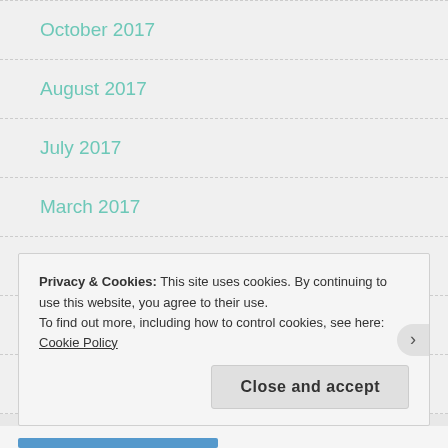October 2017
August 2017
July 2017
March 2017
February 2017
January 2017
December 2016
Privacy & Cookies: This site uses cookies. By continuing to use this website, you agree to their use.
To find out more, including how to control cookies, see here: Cookie Policy
Close and accept